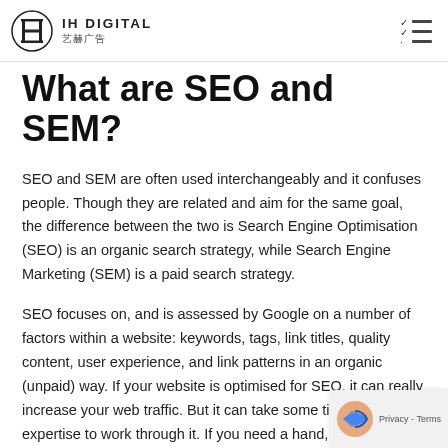IH DIGITAL 艺赫广告
What are SEO and SEM?
SEO and SEM are often used interchangeably and it confuses people. Though they are related and aim for the same goal, the difference between the two is Search Engine Optimisation (SEO) is an organic search strategy, while Search Engine Marketing (SEM) is a paid search strategy.
SEO focuses on, and is assessed by Google on a number of factors within a website: keywords, tags, link titles, quality content, user experience, and link patterns in an organic (unpaid) way. If your website is optimised for SEO, it can really increase your web traffic. But it can take some time and expertise to work through it. If you need a hand, you can start talking to our SEO experts to help you.